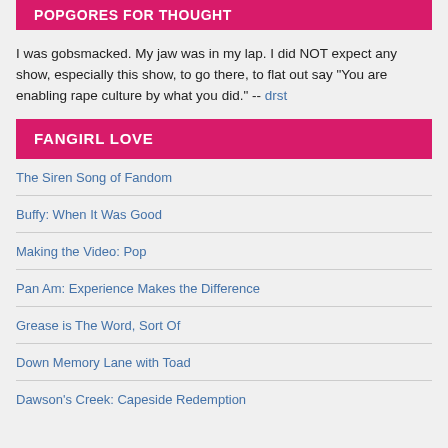POPGORES FOR THOUGHT
I was gobsmacked. My jaw was in my lap. I did NOT expect any show, especially this show, to go there, to flat out say "You are enabling rape culture by what you did." -- drst
FANGIRL LOVE
The Siren Song of Fandom
Buffy: When It Was Good
Making the Video: Pop
Pan Am: Experience Makes the Difference
Grease is The Word, Sort Of
Down Memory Lane with Toad
Dawson's Creek: Capeside Redemption